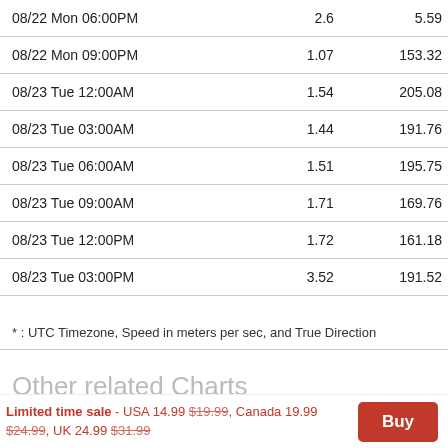| Date/Time |  |  |
| --- | --- | --- |
| 08/22 Mon 06:00PM | 2.6 | 5.59 |
| 08/22 Mon 09:00PM | 1.07 | 153.32 |
| 08/23 Tue 12:00AM | 1.54 | 205.08 |
| 08/23 Tue 03:00AM | 1.44 | 191.76 |
| 08/23 Tue 06:00AM | 1.51 | 195.75 |
| 08/23 Tue 09:00AM | 1.71 | 169.76 |
| 08/23 Tue 12:00PM | 1.72 | 161.18 |
| 08/23 Tue 03:00PM | 3.52 | 191.52 |
* : UTC Timezone, Speed in meters per sec, and True Direction
Other related Charts
PIGEON LAKE (SOUTH PORTION/PARTIE SUD)
BOBGAYGEON - LOCK/◆CLUSE 32
Limited time sale - USA 14.99 $19.99, Canada 19.99 $24.99, UK 24.99 $31.99